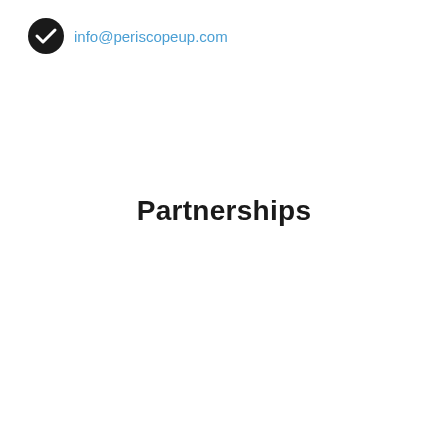info@periscopeup.com
Partnerships